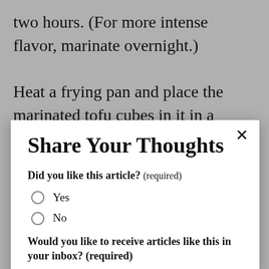two hours. (For more intense flavor, marinate overnight.)
Heat a frying pan and place the marinated tofu cubes in it in a single layer. Add a few drops of oil around each cube, but do not disturb them. With a spatula, apply
Share Your Thoughts
Did you like this article? (required)
Yes
No
Would you like to receive articles like this in your inbox? (required)